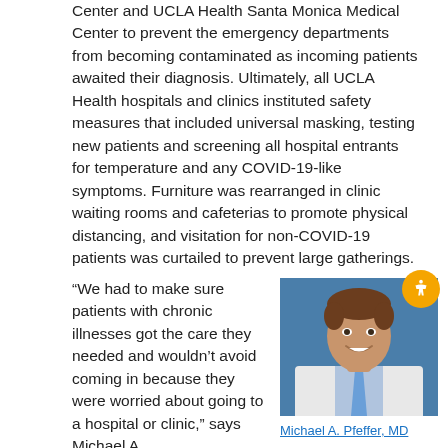Center and UCLA Health Santa Monica Medical Center to prevent the emergency departments from becoming contaminated as incoming patients awaited their diagnosis. Ultimately, all UCLA Health hospitals and clinics instituted safety measures that included universal masking, testing new patients and screening all hospital entrants for temperature and any COVID-19-like symptoms. Furniture was rearranged in clinic waiting rooms and cafeterias to promote physical distancing, and visitation for non-COVID-19 patients was curtailed to prevent large gatherings.
“We had to make sure patients with chronic illnesses got the care they needed and wouldn’t avoid coming in because they were worried about going to a hospital or clinic,” says Michael A.
[Figure (photo): Headshot of Michael A. Pfeffer, MD — a smiling man in a white coat and blue tie, photographed against a blue background.]
Michael A. Pfeffer, MD